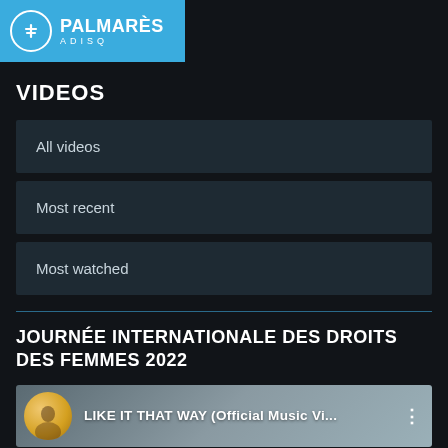[Figure (logo): Palmarès ADISQ logo — blue banner with white circle icon and text]
VIDEOS
All videos
Most recent
Most watched
JOURNÉE INTERNATIONALE DES DROITS DES FEMMES 2022
[Figure (screenshot): Video thumbnail showing LIKE IT THAT WAY (Official Music Vi... with a female artist avatar]